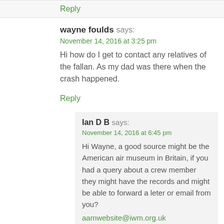Reply
wayne foulds says:
November 14, 2016 at 3:25 pm
Hi how do I get to contact any relatives of the fallan. As my dad was there when the crash happened.
Reply
Ian D B says:
November 14, 2016 at 6:45 pm
Hi Wayne, a good source might be the American air museum in Britain, if you had a query about a crew member they might have the records and might be able to forward a leter or email from you?
aamwebsite@iwm.org.uk